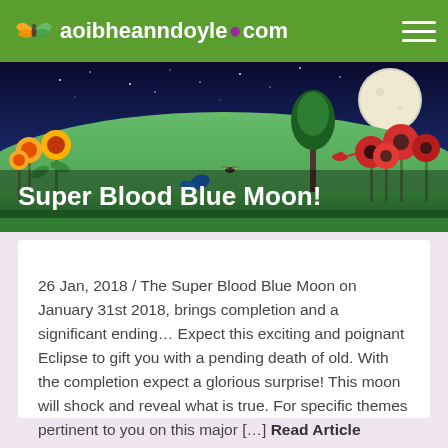aoibheanndoyle.com
[Figure (photo): Hero image of a lush green meadow with yellow flowers on the left, red poppies on the right, a starry sky in the background, and a blue butterfly. Text overlay reads 'Super Blood Blue Moon!']
Super Blood Blue Moon!
26 Jan, 2018  /  The Super Blood Blue Moon on January 31st 2018, brings completion and a significant ending… Expect this exciting and poignant Eclipse to gift you with a pending death of old. With the completion expect a glorious surprise! This moon will shock and reveal what is true. For specific themes pertinent to you on this major […] Read Article